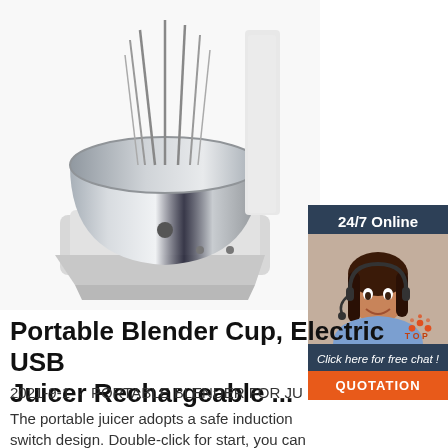[Figure (photo): Commercial spiral dough mixer with stainless steel bowl, white body, viewed from front-left angle]
[Figure (infographic): 24/7 Online chat widget with customer service representative photo, 'Click here for free chat!' text, and orange QUOTATION button]
Portable Blender Cup, Electric USB Juicer Rechargeable ...
2021-9-1 · PORTABLE BLENDER FOR JU
The portable juicer adopts a safe induction switch design. Double-click for start, you can